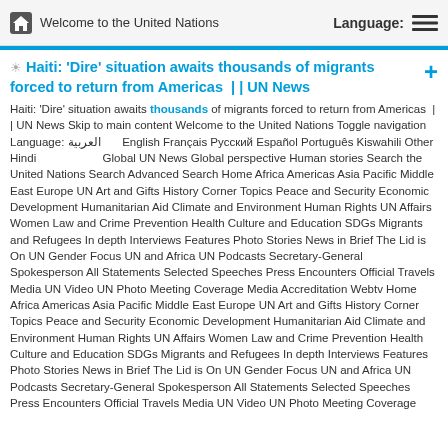Welcome to the United Nations   Language:
Haiti: 'Dire' situation awaits thousands of migrants forced to return from Americas  | | UN News
Haiti: 'Dire' situation awaits thousands of migrants forced to return from Americas  | | UN News Skip to main content Welcome to the United Nations Toggle navigation Language: العربية  English Français Русский Español Português Kiswahili Other Hindi  Global UN News Global perspective Human stories Search the United Nations Search Advanced Search Home Africa Americas Asia Pacific Middle East Europe UN Art and Gifts History Corner Topics Peace and Security Economic Development Humanitarian Aid Climate and Environment Human Rights UN Affairs Women Law and Crime Prevention Health Culture and Education SDGs Migrants and Refugees In depth Interviews Features Photo Stories News in Brief The Lid is On UN Gender Focus UN and Africa UN Podcasts Secretary-General Spokesperson All Statements Selected Speeches Press Encounters Official Travels Media UN Video UN Photo Meeting Coverage Media Accreditation Webtv Home Africa Americas Asia Pacific Middle East Europe UN Art and Gifts History Corner Topics Peace and Security Economic Development Humanitarian Aid Climate and Environment Human Rights UN Affairs Women Law and Crime Prevention Health Culture and Education SDGs Migrants and Refugees In depth Interviews Features Photo Stories News in Brief The Lid is On UN Gender Focus UN and Africa UN Podcasts Secretary-General Spokesperson All Statements Selected Speeches Press Encounters Official Travels Media UN Video UN Photo Meeting Coverage